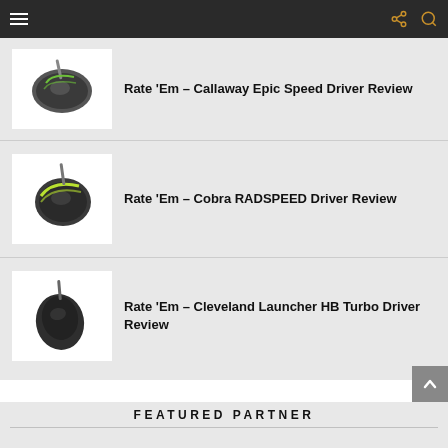Rate ‘Em – Callaway Epic Speed Driver Review
Rate ‘Em – Cobra RADSPEED Driver Review
Rate ‘Em – Cleveland Launcher HB Turbo Driver Review
FEATURED PARTNER